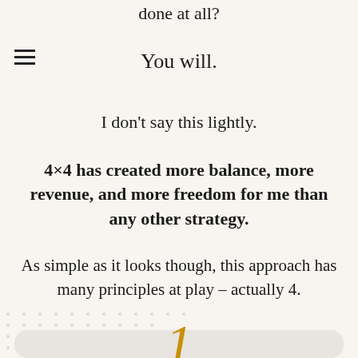done at all?
You will.
I don't say this lightly.
4×4 has created more balance, more revenue, and more freedom for me than any other strategy.
As simple as it looks though, this approach has many principles at play – actually 4.
[Figure (illustration): Decorative dot grid pattern in bottom left area, fading out. A large stylized numeral '1' in golden/amber color at the bottom center, partially cropped.]